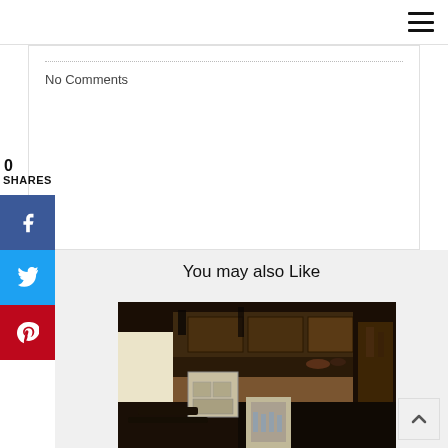No Comments
0
SHARES
[Figure (other): Facebook share button (blue)]
[Figure (other): Twitter share button (light blue)]
[Figure (other): Pinterest share button (red)]
You may also Like
[Figure (photo): Fire and smoke damaged kitchen interior showing charred cabinets, soot-covered counters, and debris on floor]